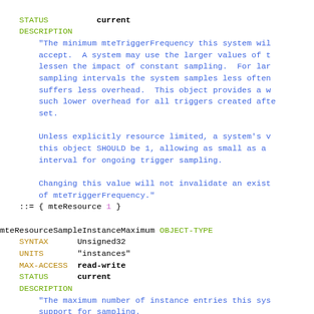STATUS    current
DESCRIPTION
    "The minimum mteTriggerFrequency this system will
    accept.  A system may use the larger values of th
    lessen the impact of constant sampling.  For larg
    sampling intervals the system samples less often
    suffers less overhead.  This object provides a wa
    such lower overhead for all triggers created afte
    set.

    Unless explicitly resource limited, a system's va
    this object SHOULD be 1, allowing as small as a 1
    interval for ongoing trigger sampling.

    Changing this value will not invalidate an existi
    of mteTriggerFrequency."
::= { mteResource 1 }
mteResourceSampleInstanceMaximum OBJECT-TYPE
    SYNTAX      Unsigned32
    UNITS       "instances"
    MAX-ACCESS  read-write
    STATUS      current
    DESCRIPTION
        "The maximum number of instance entries this syst
        support for sampling.

        These are the entries that maintain state, one fo
        instance of each sampled object as selected by
        mteTriggerValueID.  Note that wildcarded objects
        in multiple instances of this state.